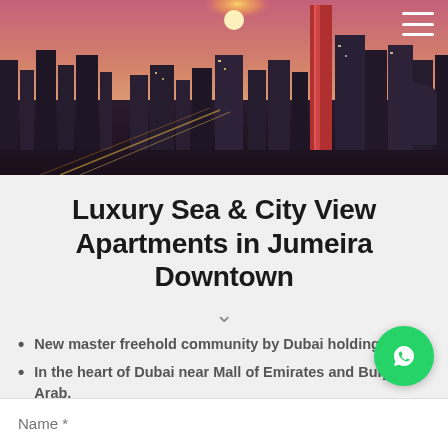[Figure (photo): Aerial night view of a modern city skyline with glowing buildings and highways, Dubai cityscape at dusk with purple/pink sky]
Luxury Sea & City View Apartments in Jumeira Downtown
New master freehold community by Dubai holding.
In the heart of Dubai near Mall of Emirates and Burj AL Arab.
Highly expected net ROI.
A beautiful view of Burj Al Arab Dubai.
A 550M 3rd tallest tower in Dubai.
Name *